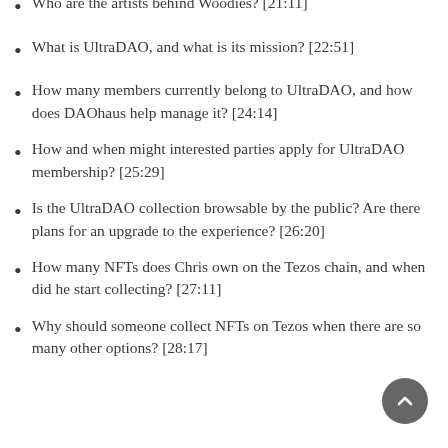Who are the artists behind Woodies? [21:11]
What is UltraDAO, and what is its mission? [22:51]
How many members currently belong to UltraDAO, and how does DAOhaus help manage it? [24:14]
How and when might interested parties apply for UltraDAO membership? [25:29]
Is the UltraDAO collection browsable by the public? Are there plans for an upgrade to the experience? [26:20]
How many NFTs does Chris own on the Tezos chain, and when did he start collecting? [27:11]
Why should someone collect NFTs on Tezos when there are so many other options? [28:17]